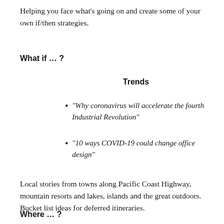Helping you face what’s going on and create some of your own if/then strategies.
What if … ?
Trends
“Why coronavirus will accelerate the fourth Industrial Revolution”
"10 ways COVID-19 could change office design"
Local stories from towns along Pacific Coast Highway, mountain resorts and lakes, islands and the great outdoors. Bucket list ideas for deferred itineraries.
Where … ?